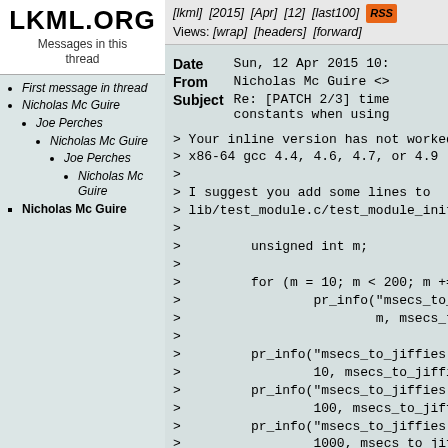LKML.ORG
Messages in this thread
[lkml] [2015] [Apr] [12] [last100] RSS Views: [wrap] [headers] [forward]
First message in thread
Nicholas Mc Guire
Joe Perches
Nicholas Mc Guire
Joe Perches
Nicholas Mc Guire
Nicholas Mc Guire
| Field | Value |
| --- | --- |
| Date | Sun, 12 Apr 2015 10: |
| From | Nicholas Mc Guire <> |
| Subject | Re: [PATCH 2/3] time constants when using |
> Your inline version has not worked
> x86-64 gcc 4.4, 4.6, 4.7, or 4.9
>
> I suggest you add some lines to
> lib/test_module.c/test_module_init
>
>         unsigned int m;
>
>         for (m = 10; m < 200; m += 1
>                 pr_info("msecs_to_ji
>                         m, msecs_to_
>
>         pr_info("msecs_to_jiffies(%u
>                 10, msecs_to_jiffies
>         pr_info("msecs_to_jiffies(%u
>                 100, msecs_to_jiffie
>         pr_info("msecs_to_jiffies(%u
>                 1000, msecs_to_jiffi
>